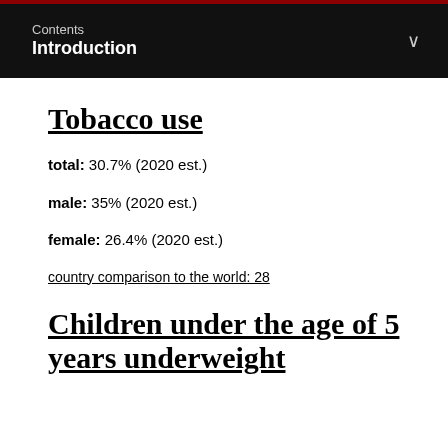Contents
Introduction
Tobacco use
total: 30.7% (2020 est.)
male: 35% (2020 est.)
female: 26.4% (2020 est.)
country comparison to the world: 28
Children under the age of 5 years underweight